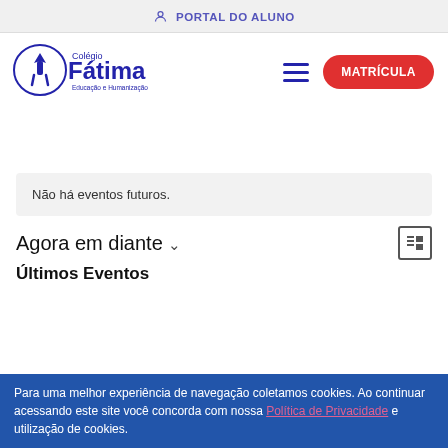PORTAL DO ALUNO
[Figure (logo): Colégio Fátima - Educação e Humanização logo with icon]
Não há eventos futuros.
Agora em diante ∨
Últimos Eventos
Para uma melhor experiência de navegação coletamos cookies. Ao continuar acessando este site você concorda com nossa Política de Privacidade e utilização de cookies.